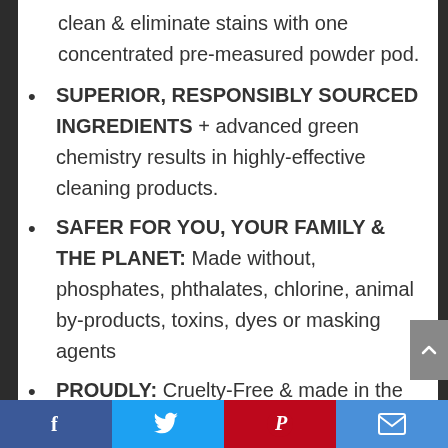clean & eliminate stains with one concentrated pre-measured powder pod.
SUPERIOR, RESPONSIBLY SOURCED INGREDIENTS + advanced green chemistry results in highly-effective cleaning products.
SAFER FOR YOU, YOUR FAMILY & THE PLANET: Made without, phosphates, phthalates, chlorine, animal by-products, toxins, dyes or masking agents
PROUDLY: Cruelty-Free & made in the USA.
Facebook | Twitter | Pinterest | Email